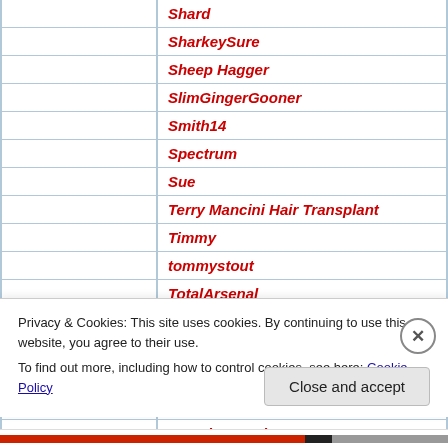| Shard |
| SharkeySure |
| Sheep Hagger |
| SlimGingerGooner |
| Smith14 |
| Spectrum |
| Sue |
| Terry Mancini Hair Transplant |
| Timmy |
| tommystout |
| TotalArsenal |
| TT (TwentyTwelve) |
| VCC |
| VP in Oz |
| weedonald |
| West ham Bob |
| WiganGooner |
| Wonderman |
Privacy & Cookies: This site uses cookies. By continuing to use this website, you agree to their use. To find out more, including how to control cookies, see here: Cookie Policy